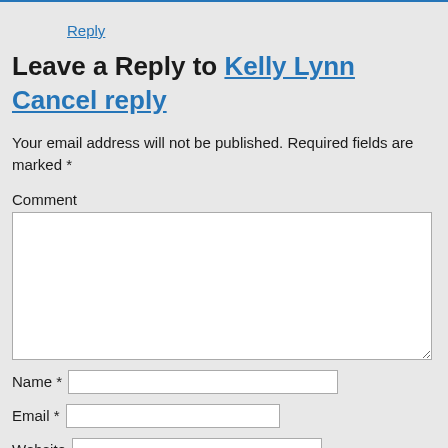Reply
Leave a Reply to Kelly Lynn Cancel reply
Your email address will not be published. Required fields are marked *
Comment
Name *
Email *
Website